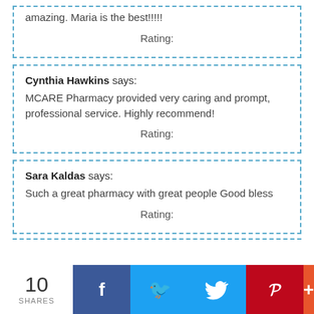amazing. Maria is the best!!!!! Rating:
Cynthia Hawkins says: MCARE Pharmacy provided very caring and prompt, professional service. Highly recommend! Rating:
Sara Kaldas says: Such a great pharmacy with great people Good bless Rating:
10 SHARES | Facebook | Twitter | Pinterest | More